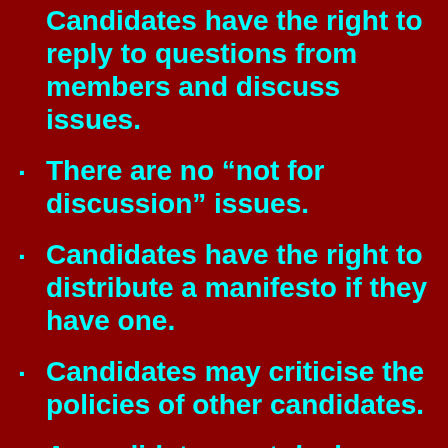Candidates have the right to reply to questions from members and discuss issues.
There are no “not for discussion” issues.
Candidates have the right to distribute a manifesto if they have one.
Candidates may criticise the policies of other candidates.
A candidate must declare any